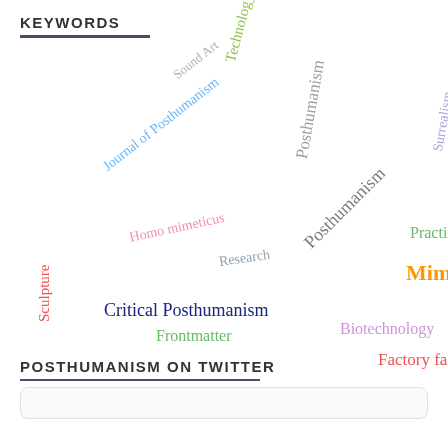KEYWORDS
[Figure (infographic): Word cloud of keywords related to Posthumanism including: Sound Art, Technology, Journal of Posthumanism, Homo mimeticus, Research, Posthumanism (multiple), Surrealism, Aeology, Transhumanism, Ethics, Posthuman, Ecology, Mimesis, Practice, Sculpture, Critical Posthumanism, Frontmatter, Biotechnology, Factory farming, Religion, Modulation]
POSTHUMANISM ON TWITTER